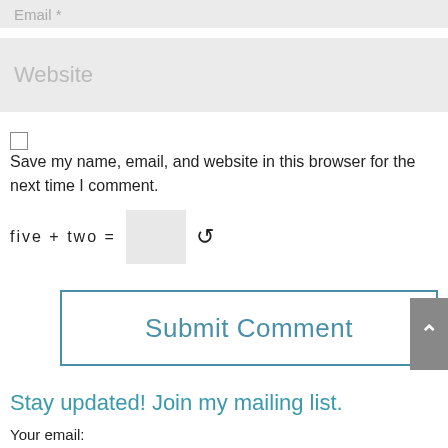Email *
Website
Save my name, email, and website in this browser for the next time I comment.
five  +  two  =
Submit Comment
Stay updated! Join my mailing list.
Your email:
Enter email address...